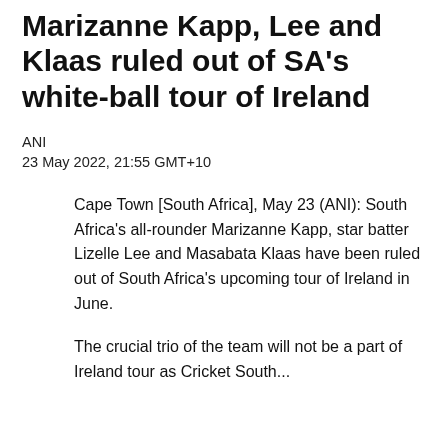Marizanne Kapp, Lee and Klaas ruled out of SA's white-ball tour of Ireland
ANI
23 May 2022, 21:55 GMT+10
Cape Town [South Africa], May 23 (ANI): South Africa's all-rounder Marizanne Kapp, star batter Lizelle Lee and Masabata Klaas have been ruled out of South Africa's upcoming tour of Ireland in June.
The crucial trio of the team will not be a part of Ireland tour as Cricket South...